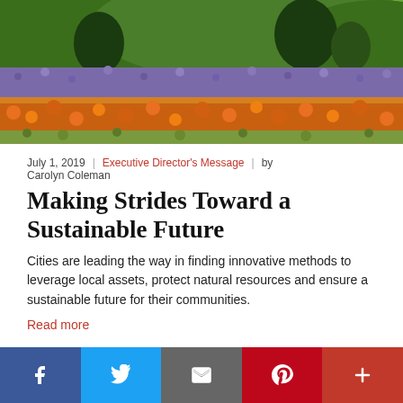[Figure (photo): Field of orange California poppies and purple wildflowers with green hills and trees in the background]
July 1, 2019  |  Executive Director's Message  |  by Carolyn Coleman
Making Strides Toward a Sustainable Future
Cities are leading the way in finding innovative methods to leverage local assets, protect natural resources and ensure a sustainable future for their communities.
Read more